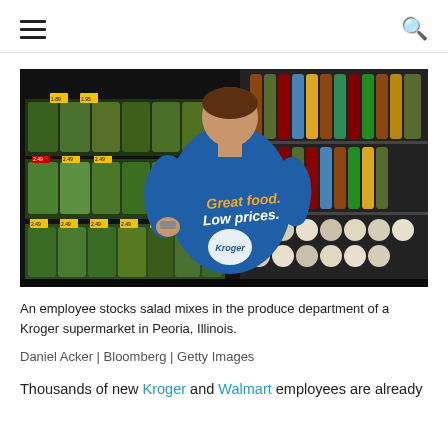≡  🔍
[Figure (photo): A Kroger employee in a blue shirt reading 'Great food. Low prices. Kroger' stocks salad mixes in the produce department, viewed from behind. Store shelves with packaged salad greens and yellow price tags visible.]
An employee stocks salad mixes in the produce department of a Kroger supermarket in Peoria, Illinois.
Daniel Acker | Bloomberg | Getty Images
Thousands of new Kroger and Walmart employees are already